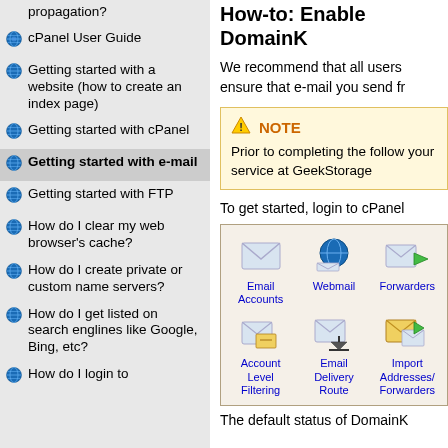propagation?
cPanel User Guide
Getting started with a website (how to create an index page)
Getting started with cPanel
Getting started with e-mail
Getting started with FTP
How do I clear my web browser's cache?
How do I create private or custom name servers?
How do I get listed on search englines like Google, Bing, etc?
How do I login to
How-to: Enable DomainK
We recommend that all users ensure that e-mail you send fr
NOTE
Prior to completing the following your service at GeekStorage
To get started, login to cPanel
[Figure (screenshot): cPanel email section screenshot showing icons: Email Accounts, Webmail, Forwarders, Account Level Filtering, Email Delivery Route, Import Addresses/Forwarders]
The default status of DomainK